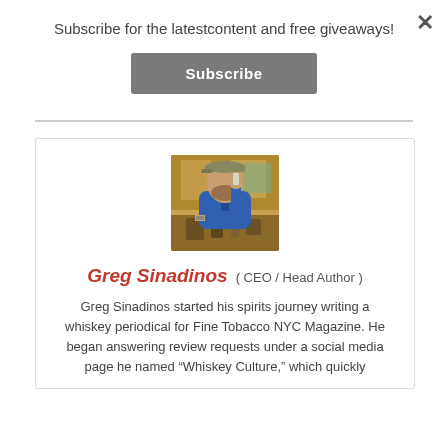Subscribe for the latestcontent and free giveaways!
Subscribe
[Figure (photo): Portrait photo of Greg Sinadinos sitting at a bar or restaurant, wearing a blue shirt and cap, raising a glass]
Greg Sinadinos  ( CEO / Head Author )
Greg Sinadinos started his spirits journey writing a whiskey periodical for Fine Tobacco NYC Magazine. He began answering review requests under a social media page he named “Whiskey Culture,” which quickly